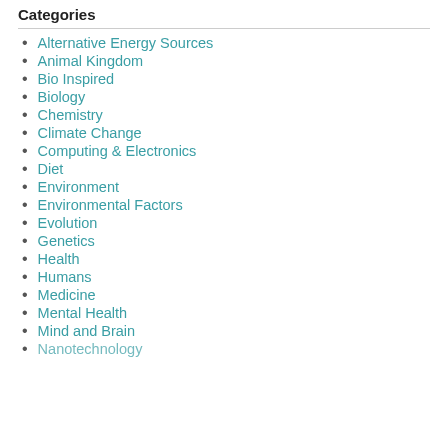Categories
Alternative Energy Sources
Animal Kingdom
Bio Inspired
Biology
Chemistry
Climate Change
Computing & Electronics
Diet
Environment
Environmental Factors
Evolution
Genetics
Health
Humans
Medicine
Mental Health
Mind and Brain
Nanotechnology